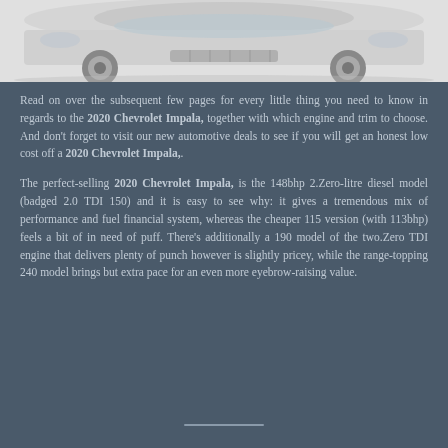[Figure (photo): Bottom portion of a Chevrolet Impala car shown from a low angle on a light background, showing the front hood and wheels.]
Read on over the subsequent few pages for every little thing you need to know in regards to the 2020 Chevrolet Impala, together with which engine and trim to choose. And don't forget to visit our new automotive deals to see if you will get an honest low cost off a 2020 Chevrolet Impala,.
The perfect-selling 2020 Chevrolet Impala, is the 148bhp 2.Zero-litre diesel model (badged 2.0 TDI 150) and it is easy to see why: it gives a tremendous mix of performance and fuel financial system, whereas the cheaper 115 version (with 113bhp) feels a bit of in need of puff. There's additionally a 190 model of the two.Zero TDI engine that delivers plenty of punch however is slightly pricey, while the range-topping 240 model brings but extra pace for an even more eyebrow-raising value.